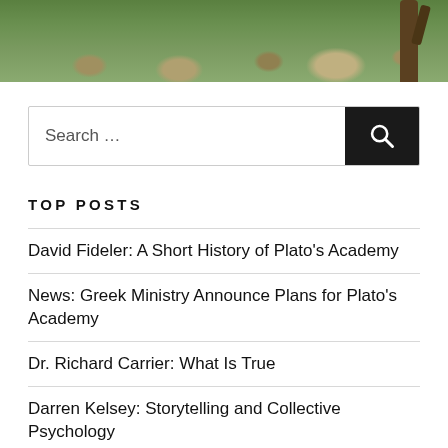[Figure (photo): Partial view of ancient ruins with green grass and stone remnants, with a tree visible on the right side. Outdoor archaeological site photo.]
Search …
TOP POSTS
David Fideler: A Short History of Plato's Academy
News: Greek Ministry Announce Plans for Plato's Academy
Dr. Richard Carrier: What Is True
Darren Kelsey: Storytelling and Collective Psychology
Jonas Salzgeber: Hey, Equanimity